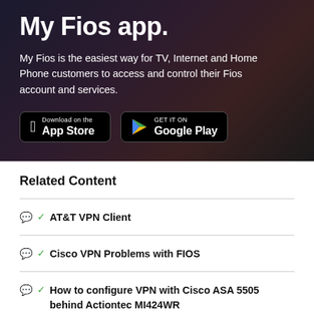My Fios app.
My Fios is the easiest way for TV, Internet and Home Phone customers to access and control their Fios account and services.
[Figure (other): App store download badges: Download on the App Store (Apple) and GET IT ON Google Play (Android)]
Related Content
AT&T VPN Client
Cisco VPN Problems with FIOS
How to configure VPN with Cisco ASA 5505 behind Actiontec MI424WR